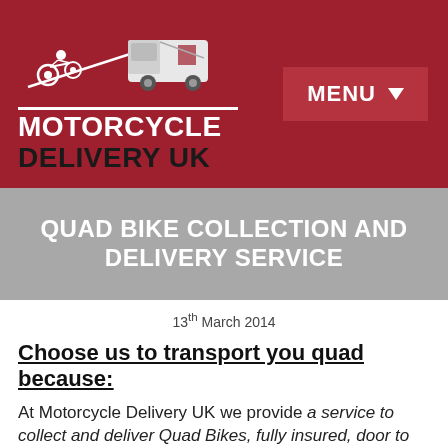[Figure (logo): Motorcycle Delivery UK logo: white van and motorcycle on ramp illustration above text 'MOTORCYCLE DELIVERY UK' on dark red background]
QUAD BIKE COLLECTION AND DELIVERY SERVICE
13th March 2014
Choose us to transport you quad because:
At Motorcycle Delivery UK we provide a service to collect and deliver Quad Bikes, fully insured, door to door. We have moved hundreds of